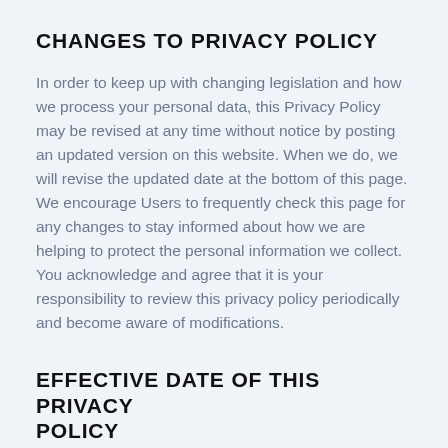CHANGES TO PRIVACY POLICY
In order to keep up with changing legislation and how we process your personal data, this Privacy Policy may be revised at any time without notice by posting an updated version on this website. When we do, we will revise the updated date at the bottom of this page. We encourage Users to frequently check this page for any changes to stay informed about how we are helping to protect the personal information we collect. You acknowledge and agree that it is your responsibility to review this privacy policy periodically and become aware of modifications.
EFFECTIVE DATE OF THIS PRIVACY POLICY